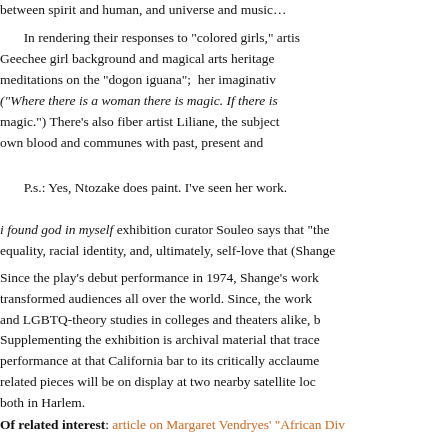between spirit and human, and universe and music...
In rendering their responses to "colored girls," artists draw on Geechee girl background and magical arts heritage, meditations on the "dogon iguana"; her imaginative ("Where there is a woman there is magic. If there is magic.") There's also fiber artist Liliane, the subject own blood and communes with past, present and
P.s.: Yes, Ntozake does paint. I've seen her work.
i found god in myself exhibition curator Souleo says that "the equality, racial identity, and, ultimately, self-love that (Shange
Since the play's debut performance in 1974, Shange's work transformed audiences all over the world. Since, the work and LGBTQ-theory studies in colleges and theaters alike, b
Supplementing the exhibition is archival material that traces performance at that California bar to its critically acclaimed related pieces will be on display at two nearby satellite locations both in Harlem.
Of related interest: article on Margaret Vendryes' "African Div